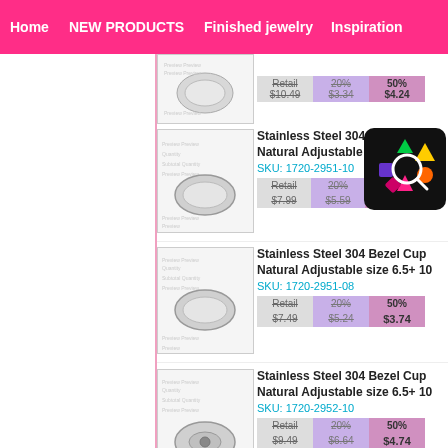Home | NEW PRODUCTS | Finished jewelry | Inspiration
Stainless Steel 304 Bezel Cup Natural Adjustable size 6.5+ 10 SKU: 1720-2951-10 Retail $7.99 | 20% $5.x | 50%
Stainless Steel 304 Bezel Cup Natural Adjustable size 6.5+ 10 SKU: 1720-2951-08 Retail $7.49 | 20% $5.24 | 50% $3.74
Stainless Steel 304 Bezel Cup Natural Adjustable size 6.5+ 10 SKU: 1720-2952-10 Retail $9.49 | 20% $6.64 | 50% $4.74